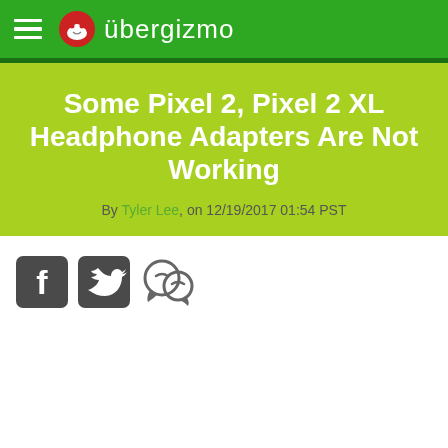übergizmo
Some Pixel 2, Pixel 2 XL Headphone Adapters Are Not Working
By Tyler Lee, on 12/19/2017 01:54 PST
[Figure (other): Social sharing icons: Facebook, Twitter, and Comments]